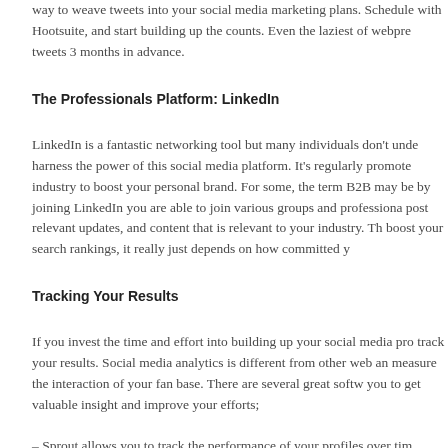way to weave tweets into your social media marketing plans. Schedule with Hootsuite, and start building up the counts. Even the laziest of webpre tweets 3 months in advance.
The Professionals Platform: LinkedIn
LinkedIn is a fantastic networking tool but many individuals don't unde harness the power of this social media platform. It's regularly promote industry to boost your personal brand. For some, the term B2B may be by joining LinkedIn you are able to join various groups and professiona post relevant updates, and content that is relevant to your industry. Th boost your search rankings, it really just depends on how committed y
Tracking Your Results
If you invest the time and effort into building up your social media pro track your results. Social media analytics is different from other web an measure the interaction of your fan base. There are several great softw you to get valuable insight and improve your efforts;
– Sprout allows you to track the performance of your profiles over tim